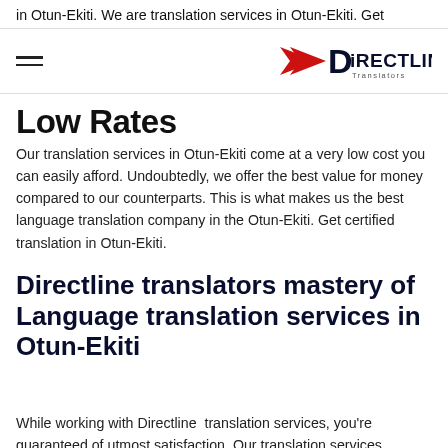in Otun-Ekiti. We are translation services in Otun-Ekiti. Get
[Figure (logo): Directline Translators logo with red arrow/chevron and black text]
Low Rates
Our translation services in Otun-Ekiti come at a very low cost you can easily afford. Undoubtedly, we offer the best value for money compared to our counterparts. This is what makes us the best language translation company in the Otun-Ekiti. Get certified translation in Otun-Ekiti.
Directline translators mastery of Language translation services in Otun-Ekiti
While working with Directline  translation services, you're guaranteed of utmost satisfaction. Our translation services